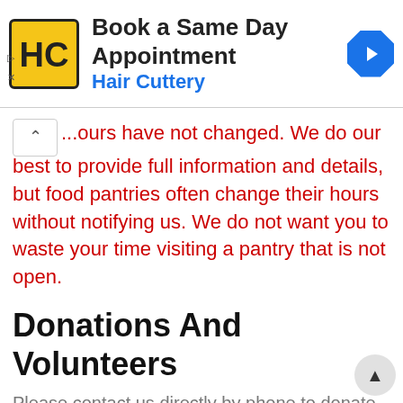[Figure (other): Hair Cuttery advertisement banner with logo, 'Book a Same Day Appointment' title, and blue directional arrow icon]
...hours have not changed. We do our best to provide full information and details, but food pantries often change their hours without notifying us. We do not want you to waste your time visiting a pantry that is not open.
Donations And Volunteers
Please contact us directly by phone to donate and/or volunteer.
Need More Information
We always need more information on our pantries. If you know of any details, volunteer information, website, hours or more description information about Jay Food Shelf